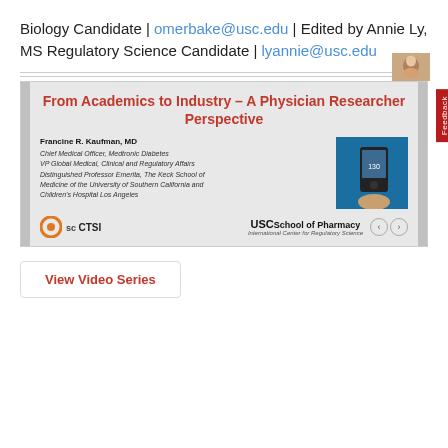Biology Candidate | omerbake@usc.edu | Edited by Annie Ly, MS Regulatory Science Candidate | lyannie@usc.edu
[Figure (screenshot): Screenshot of a USC lecture slide titled 'From Academics to Industry – A Physician Researcher Perspective' by Francine R. Kaufman, MD. Includes speaker credentials, SC CTSI logo, USC School of Pharmacy logo, navigation arrows, a feedback tab, and an image of a medical device.]
View Video Series